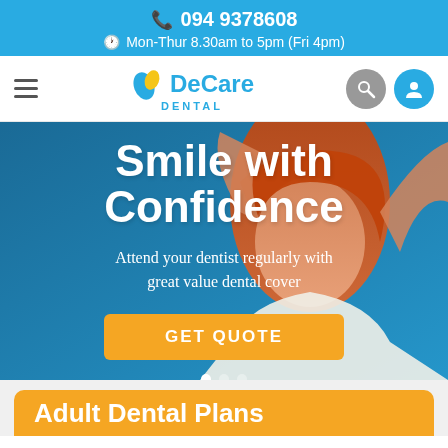094 9378608
Mon-Thur 8.30am to 5pm (Fri 4pm)
[Figure (logo): DeCare Dental logo with leaf/droplet icon in blue and yellow]
Smile with Confidence
Attend your dentist regularly with great value dental cover
GET QUOTE
Adult Dental Plans